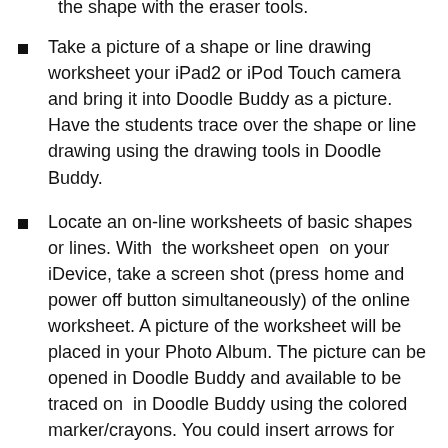the shape with the eraser tools.
Take a picture of a shape or line drawing worksheet your iPad2 or iPod Touch camera and bring it into Doodle Buddy as a picture. Have the students trace over the shape or line drawing using the drawing tools in Doodle Buddy.
Locate an on-line worksheets of basic shapes or lines. With  the worksheet open  on your iDevice, take a screen shot (press home and power off button simultaneously) of the online worksheet. A picture of the worksheet will be placed in your Photo Album. The picture can be opened in Doodle Buddy and available to be traced on  in Doodle Buddy using the colored marker/crayons. You could insert arrows for cues of where to start and what direction to draw.